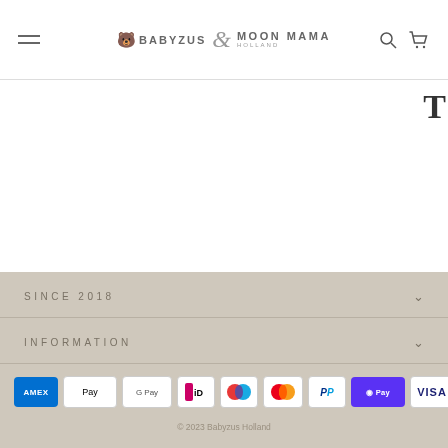BABYZUS & MOON MAMA HOLLAND — navigation header with hamburger menu, logo, search and cart icons
T
SINCE 2018
INFORMATION
[Figure (other): Payment method icons: American Express, Apple Pay, Google Pay, iDEAL, Maestro, Mastercard, PayPal, Shop Pay, Visa]
© 2023 Babyzus Holland